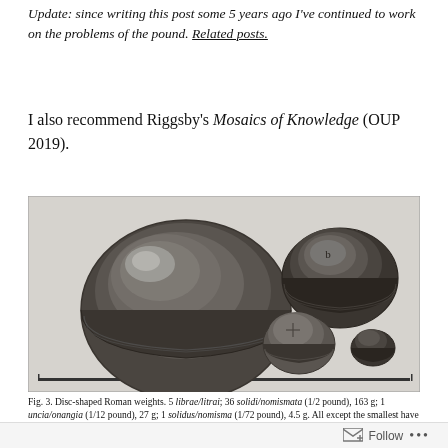Update: since writing this post some 5 years ago I've continued to work on the problems of the pound. Related posts.
I also recommend Riggsby's Mosaics of Knowledge (OUP 2019).
[Figure (photo): Disc-shaped Roman weights of various sizes arranged on a plain background. A large disc weight occupies the left half, with three progressively smaller disc weights on the right side.]
Fig. 3. Disc-shaped Roman weights. 5 librae/litrai; 36 solidi/nomismata (1/2 pound), 163 g; 1 uncia/onangia (1/12 pound), 27 g; 1 solidus/nomisma (1/72 pound), 4.5 g. All except the smallest have two grooves around their sides